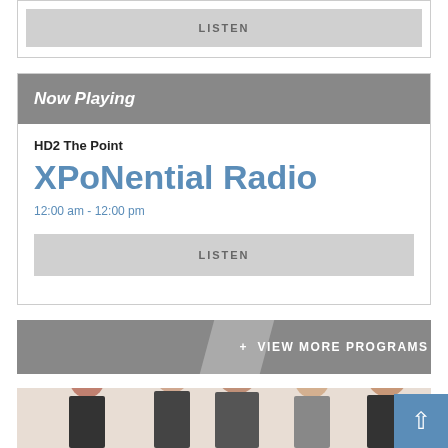[Figure (screenshot): LISTEN button bar at top of page]
Now Playing
HD2 The Point
XPoNential Radio
12:00 am - 12:00 pm
[Figure (screenshot): LISTEN button]
[Figure (screenshot): + VIEW MORE PROGRAMS button banner]
[Figure (photo): Group photo of five people in formal attire]